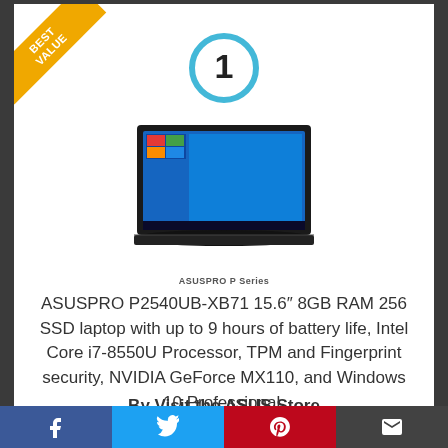[Figure (illustration): Best Value ribbon badge in top-left corner of product card]
[Figure (illustration): Number 1 rank inside a light blue circle]
[Figure (photo): ASUSPRO P Series laptop computer product image with screen showing Windows 10 desktop, with ASUSPRO P Series label below]
ASUSPRO P2540UB-XB71 15.6″ 8GB RAM 256 SSD laptop with up to 9 hours of battery life, Intel Core i7-8550U Processor, TPM and Fingerprint security, NVIDIA GeForce MX110, and Windows 10 Professional.
By Visit the ASUS Store
[Figure (infographic): Social sharing bar with Facebook, Twitter, Pinterest, and Email buttons]